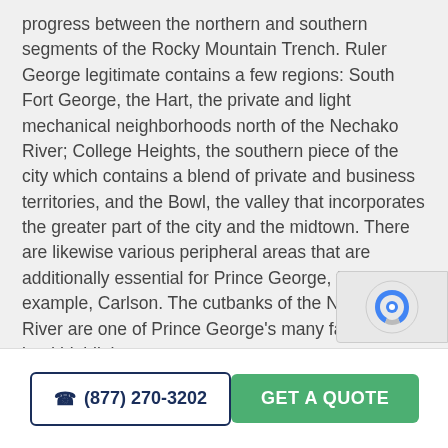progress between the northern and southern segments of the Rocky Mountain Trench. Ruler George legitimate contains a few regions: South Fort George, the Hart, the private and light mechanical neighborhoods north of the Nechako River; College Heights, the southern piece of the city which contains a blend of private and business territories, and the Bowl, the valley that incorporates the greater part of the city and the midtown. There are likewise various peripheral areas that are additionally essential for Prince George, for example, Carlson. The cutbanks of the Nechako River are one of Prince George's many fascinating land highlights.
(877) 270-3202
GET A QUOTE